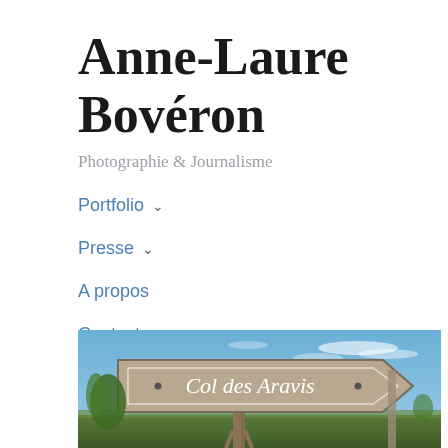Anne-Laure Bovéron
Photographie & Journalisme
Portfolio ∨
Presse ∨
A propos
Contact
[Figure (photo): Wooden directional sign reading 'Col des Aravis' against a blue sky with some clouds and green vegetation in the background]